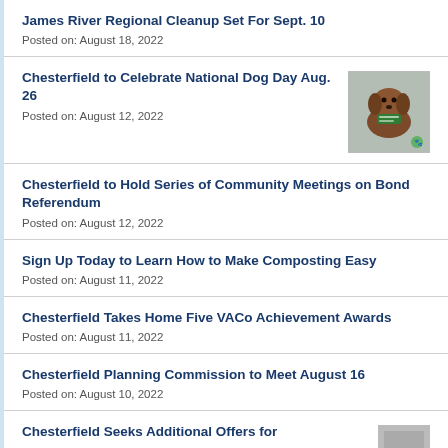James River Regional Cleanup Set For Sept. 10
Posted on: August 18, 2022
Chesterfield to Celebrate National Dog Day Aug. 26
Posted on: August 12, 2022
[Figure (photo): Photo thumbnail of a brown dog wearing a green outfit, related to National Dog Day event]
Chesterfield to Hold Series of Community Meetings on Bond Referendum
Posted on: August 12, 2022
Sign Up Today to Learn How to Make Composting Easy
Posted on: August 11, 2022
Chesterfield Takes Home Five VACo Achievement Awards
Posted on: August 11, 2022
Chesterfield Planning Commission to Meet August 16
Posted on: August 10, 2022
Chesterfield Seeks Additional Offers for...
[Figure (photo): Partially visible thumbnail image at the bottom right of the page]